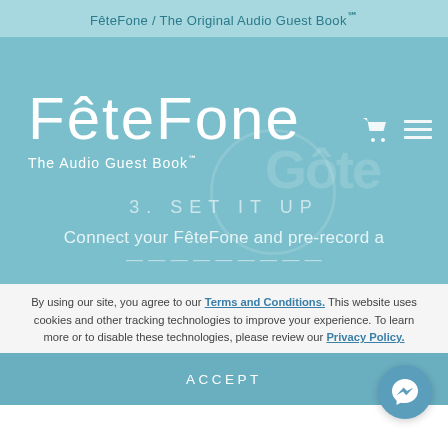FêteFone / The Original Audio Guest Book℠
[Figure (screenshot): FêteFone website hero section with logo 'FêteFone' in large white text and tagline 'The Audio Guest Book℠', navigation icons (cart and hamburger menu) in top right, step '3. SET IT UP' and partial text 'Connect your FêteFone and pre-record a' on a teal/blue gradient background]
By using our site, you agree to our Terms and Conditions. This website uses cookies and other tracking technologies to improve your experience. To learn more or to disable these technologies, please review our Privacy Policy.
ACCEPT